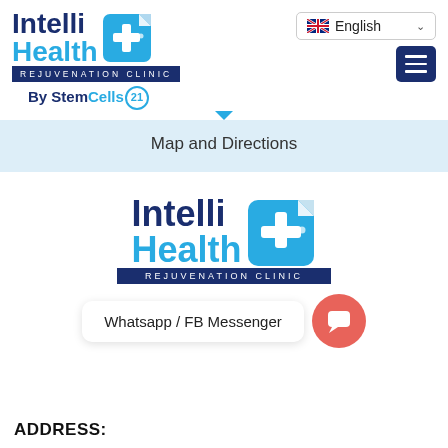[Figure (logo): IntelliHealth+ Rejuvenation Clinic logo with blue cross icon, top-left header]
[Figure (screenshot): English language selector dropdown with UK flag]
[Figure (other): Dark navy hamburger menu button]
By StemCells 21
Map and Directions
[Figure (logo): IntelliHealth+ Rejuvenation Clinic logo centered, larger version]
Whatsapp / FB Messenger
ADDRESS: